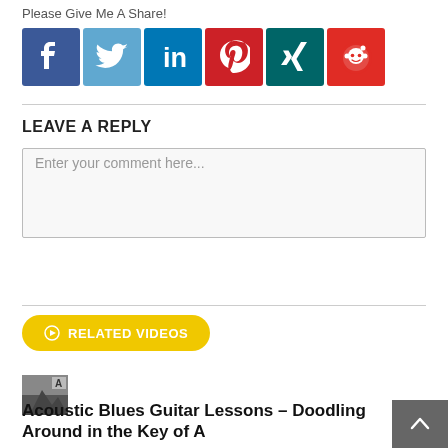Please Give Me A Share!
[Figure (infographic): Row of six social media share buttons: Facebook, Twitter, LinkedIn, Pinterest, Xing, Reddit]
LEAVE A REPLY
Enter your comment here...
[Figure (other): Yellow pill-shaped button with globe icon labeled RELATED VIDEOS]
[Figure (photo): Small thumbnail image for acoustic blues guitar lesson article]
Acoustic Blues Guitar Lessons – Doodling Around in the Key of A